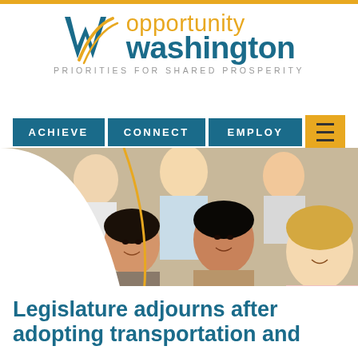[Figure (logo): Opportunity Washington logo with stylized W in blue and gold, text 'opportunity washington', tagline 'PRIORITIES FOR SHARED PROSPERITY']
[Figure (infographic): Navigation bar with three teal buttons labeled ACHIEVE, CONNECT, EMPLOY, and a gold hamburger menu button]
[Figure (photo): Group photo of diverse smiling young adults, cropped in a curved shape over white background]
Legislature adjourns after adopting transportation and